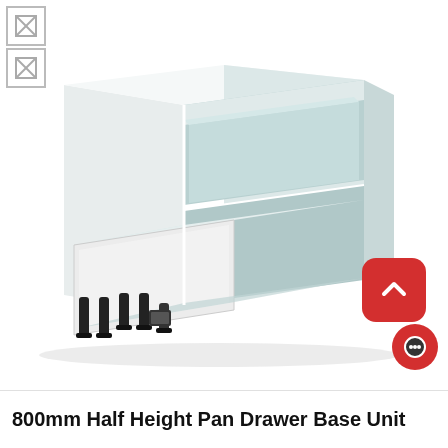[Figure (photo): 3D render of an 800mm Half Height Pan Drawer Base Unit kitchen cabinet. The white cabinet has two drawers, with the lower large drawer pulled open to reveal the interior. The unit stands on black adjustable legs. Two placeholder image icons are visible in the top-left corner. A red rounded-square scroll-to-top button and a red circular chat button are overlaid in the bottom-right area.]
800mm Half Height Pan Drawer Base Unit